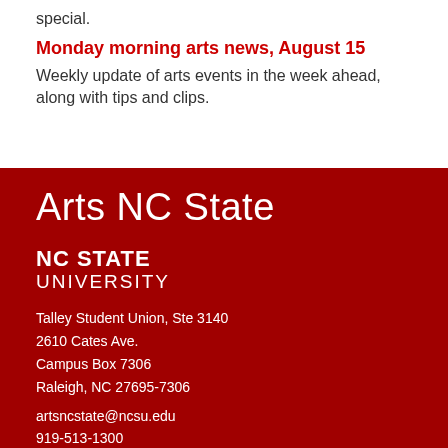special.
Monday morning arts news, August 15
Weekly update of arts events in the week ahead, along with tips and clips.
Arts NC State
NC STATE UNIVERSITY
Talley Student Union, Ste 3140
2610 Cates Ave.
Campus Box 7306
Raleigh, NC 27695-7306
artsncstate@ncsu.edu
919-513-1300